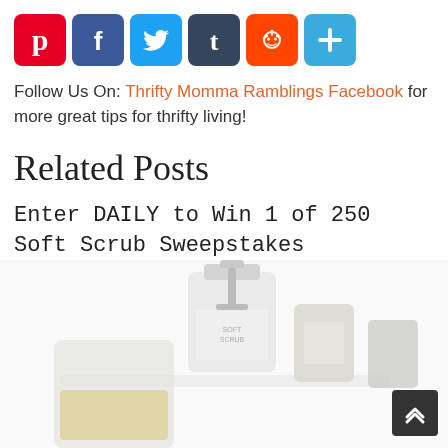[Figure (other): Row of social media share buttons: Pinterest (red), Facebook (blue), Twitter (light blue), Tumblr (dark blue-grey), Reddit (orange), More/Plus (blue)]
Follow Us On: Thrifty Momma Ramblings Facebook for more great tips for thrifty living!
Related Posts
Enter DAILY to Win 1 of 250 Soft Scrub Sweepstakes
[Figure (photo): Product photo of Soft Scrub bottles/containers on white background, partially visible]